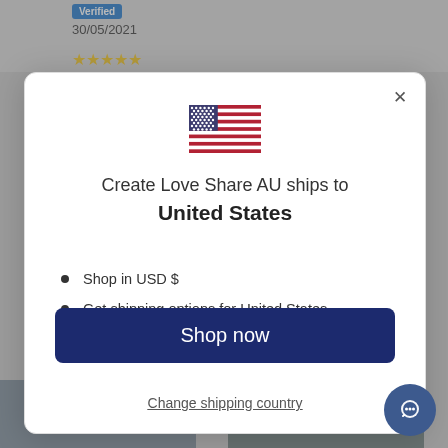Verified
30/05/2021
[Figure (illustration): US flag emoji]
Create Love Share AU ships to United States
Shop in USD $
Get shipping options for United States
Shop now
Change shipping country